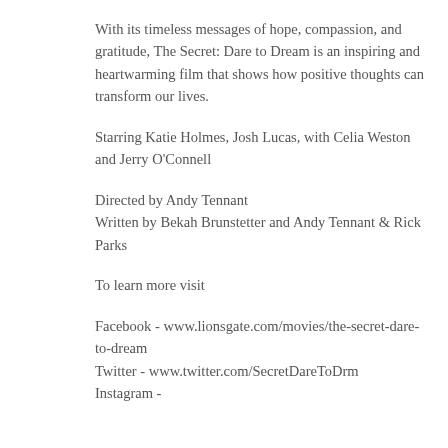With its timeless messages of hope, compassion, and gratitude, The Secret: Dare to Dream is an inspiring and heartwarming film that shows how positive thoughts can transform our lives.
Starring Katie Holmes, Josh Lucas, with Celia Weston and Jerry O'Connell
Directed by Andy Tennant
Written by Bekah Brunstetter and Andy Tennant & Rick Parks
To learn more visit
Facebook - www.lionsgate.com/movies/the-secret-dare-to-dream
Twitter - www.twitter.com/SecretDareToDrm
Instagram -